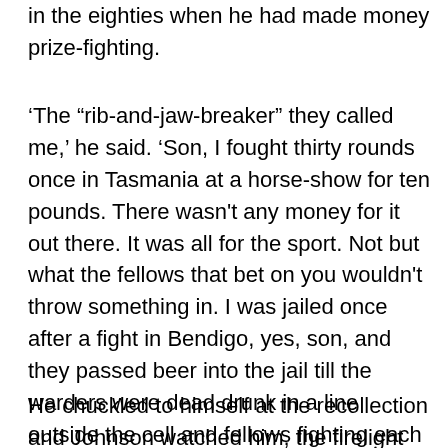in the eighties when he had made money prize-fighting.
'The “rib-and-jaw-breaker” they called me,' he said. 'Son, I fought thirty rounds once in Tasmania at a horse-show for ten pounds. There wasn't any money for it out there. It was all for the sport. Not but what the fellows that bet on you wouldn't throw something in. I was jailed once after a fight in Bendigo, yes, son, and they passed beer into the jail till the warders were dead drunk in a line outside the cell and fellows fighting each other right away through the jail.'
He chuckled to himself at the recollection and Johnson watched him, the firelight playing on his hooked nose and great head while he bent forward filling his pipe.